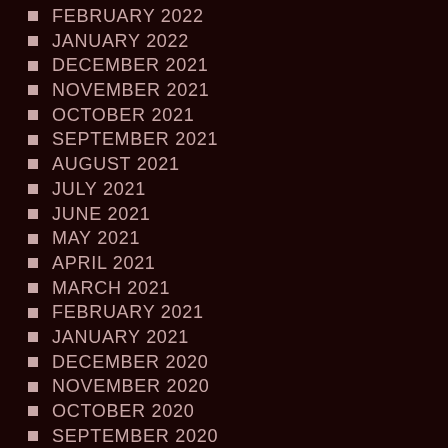FEBRUARY 2022
JANUARY 2022
DECEMBER 2021
NOVEMBER 2021
OCTOBER 2021
SEPTEMBER 2021
AUGUST 2021
JULY 2021
JUNE 2021
MAY 2021
APRIL 2021
MARCH 2021
FEBRUARY 2021
JANUARY 2021
DECEMBER 2020
NOVEMBER 2020
OCTOBER 2020
SEPTEMBER 2020
AUGUST 2020
JULY 2020